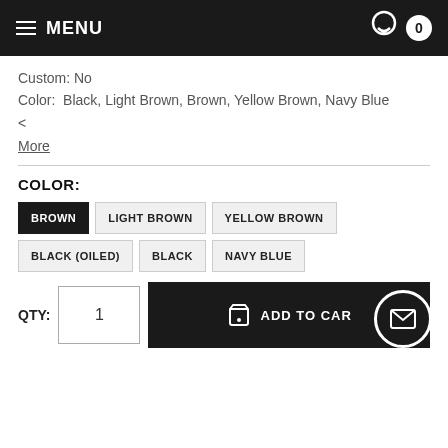MENU  0
Custom: No
Color:  Black, Light Brown, Brown, Yellow Brown, Navy Blue
<
More
COLOR:
BROWN  LIGHT BROWN  YELLOW BROWN  BLACK (OILED)  BLACK  NAVY BLUE
QTY:  1  ADD TO CART